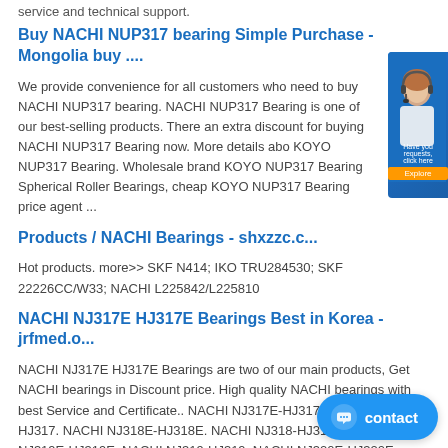service and technical support.
Buy NACHI NUP317 bearing Simple Purchase - Mongolia buy ....
We provide convenience for all customers who need to buy NACHI NUP317 bearing. NACHI NUP317 Bearing is one of our best-selling products. There an extra discount for buying NACHI NUP317 Bearing now. More details abo KOYO NUP317 Bearing. Wholesale brand KOYO NUP317 Bearing Spherical Roller Bearings, cheap KOYO NUP317 Bearing price agent ...
Products / NACHI Bearings - shxzzc.c...
Hot products. more>> SKF N414; IKO TRU284530; SKF 22226CC/W33; NACHI L225842/L225810
NACHI NJ317E HJ317E Bearings Best in Korea - jrfmed.o...
NACHI NJ317E HJ317E Bearings are two of our main products, Get NACHI bearings in Discount price. High quality NACHI bearings with best Service and Certificate.. NACHI NJ317E-HJ317E. NACHI NJ317-HJ317. NACHI NJ318E-HJ318E. NACHI NJ318-HJ318. NACHI NJ319E-HJ319E. NACHI NJ319-HJ319. NACHI NJ320E-HJ320E. NACHI NJ320-HJ320. NACHI NJ321E-HJ321E..
NACHI NUP313E bearing for sale 65x140x...
NACHI 7000 bearing for sale in India - TWB Bearin. NACHI KAISYU. Find the best selection of nachi bearing here at KAISYUAN. Source